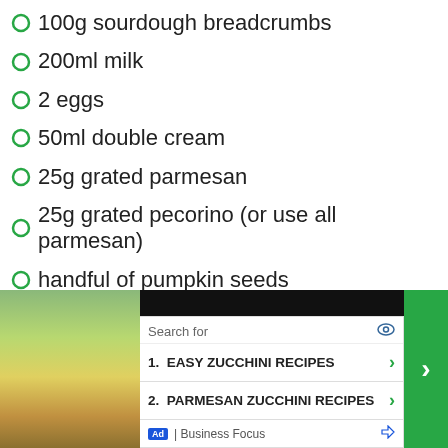100g sourdough breadcrumbs
200ml milk
2 eggs
50ml double cream
25g grated parmesan
25g grated pecorino (or use all parmesan)
handful of pumpkin seeds
[Figure (screenshot): Advertisement block showing a food photo on the left and a search results list with 'EASY ZUCCHINI RECIPES' and 'PARMESAN ZUCCHINI RECIPES' from Business Focus]